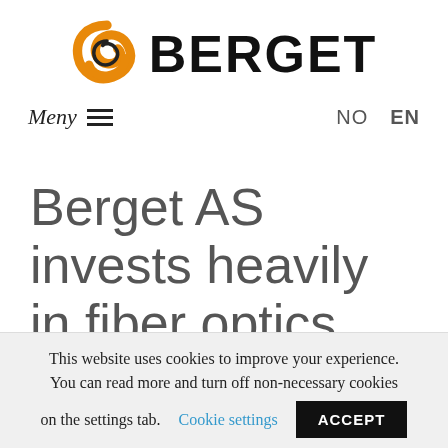[Figure (logo): Berget AS company logo: orange swirl/loop icon on the left, bold black text BERGET on the right]
Meny ≡   NO   EN
Berget AS invests heavily in fiber optics
This website uses cookies to improve your experience. You can read more and turn off non-necessary cookies on the settings tab.  Cookie settings  ACCEPT